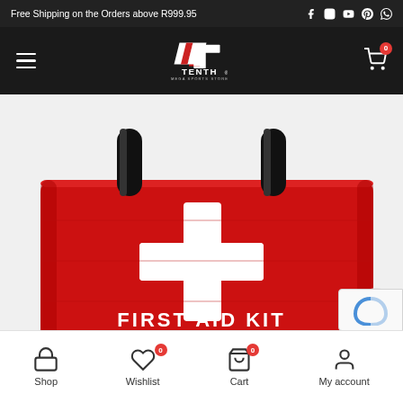Free Shipping on the Orders above R999.95
[Figure (logo): TENTH MEGA SPORTS STORE logo — stylized T with red and white geometric shapes, white text]
[Figure (photo): Red first aid kit bag with black carrying handles and white cross symbol, text 'FIRST AID KIT' at bottom]
Shop | Wishlist 0 | Cart 0 | My account